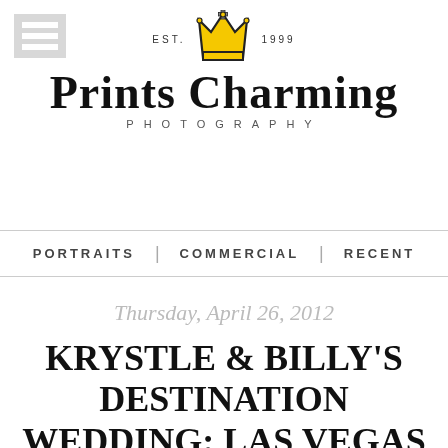[Figure (logo): Hamburger/menu icon with three horizontal white bars on grey background, top-left corner]
[Figure (logo): Prints Charming Photography logo with golden crown, EST. 1999 text, and bold serif brand name with spaced PHOTOGRAPHY subtitle]
PORTRAITS | COMMERCIAL | RECENT
Thursday, April 26, 2012
KRYSTLE & BILLY'S DESTINATION WEDDING: LAS VEGAS